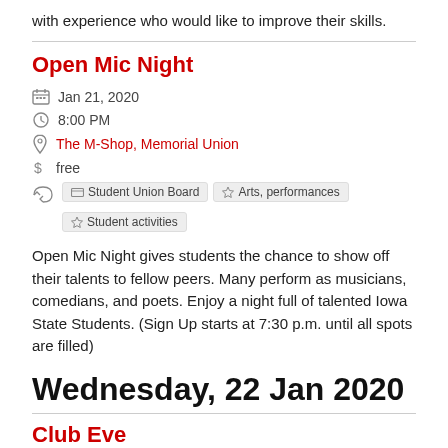with experience who would like to improve their skills.
Open Mic Night
Jan 21, 2020
8:00 PM
The M-Shop, Memorial Union
free
Student Union Board  Arts, performances  Student activities
Open Mic Night gives students the chance to show off their talents to fellow peers. Many perform as musicians, comedians, and poets. Enjoy a night full of talented Iowa State Students. (Sign Up starts at 7:30 p.m. until all spots are filled)
Wednesday, 22 Jan 2020
Club Event